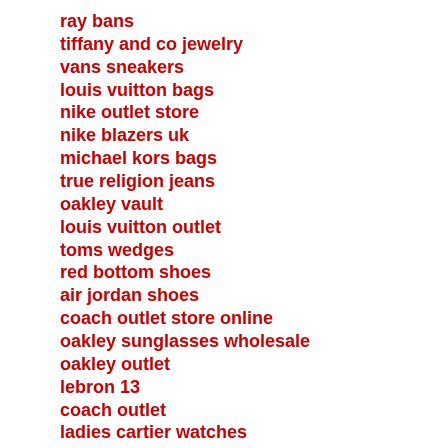ray bans
tiffany and co jewelry
vans sneakers
louis vuitton bags
nike outlet store
nike blazers uk
michael kors bags
true religion jeans
oakley vault
louis vuitton outlet
toms wedges
red bottom shoes
air jordan shoes
coach outlet store online
oakley sunglasses wholesale
oakley outlet
lebron 13
coach outlet
ladies cartier watches
hollister clothing store
cheap oakley sunglasses
ralph lauren